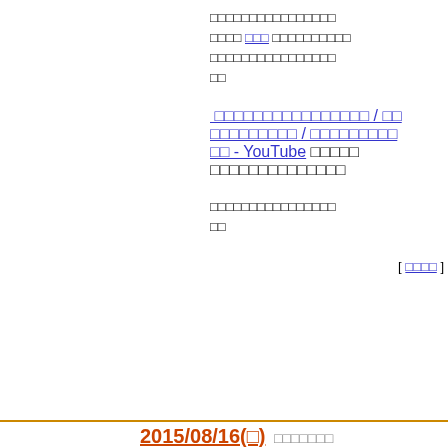□□□□□□□□□□□□□□□□ □□□□ □□□ □□□□□□□□□□ □□□□□□□□□□□□□□□□ □□
□□□□□□□□□□□□□□□□ / □□ □□□□□□□□□ / □□□□□□□□□ □□ - YouTube □□□□□ □□□□□□□□□□□□□□
□□□□□□□□□□□□□□□□ □□
[ □□□□ ]
2015/08/16(□)